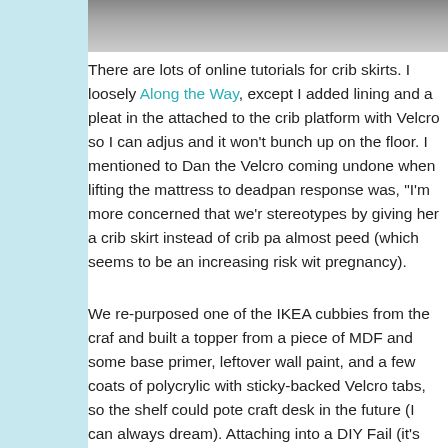[Figure (photo): Partial photo of what appears to be a crib or furniture with metal frame visible at top of page]
There are lots of online tutorials for crib skirts. I loosely Along the Way, except I added lining and a pleat in the attached to the crib platform with Velcro so I can adjus and it won't bunch up on the floor. I mentioned to Dan the Velcro coming undone when lifting the mattress to deadpan response was, "I'm more concerned that we'r stereotypes by giving her a crib skirt instead of crib pa almost peed (which seems to be an increasing risk wit pregnancy).
We re-purposed one of the IKEA cubbies from the craf and built a topper from a piece of MDF and some base primer, leftover wall paint, and a few coats of polycrylic with sticky-backed Velcro tabs, so the shelf could pote craft desk in the future (I can always dream). Attaching into a DIY Fail (it's hard to install screws into a shelf m cardboard), but I figure that I'm short enough to handle changing surface. I love how it turned out and it fits the use the drawers and baskets to store various diaper